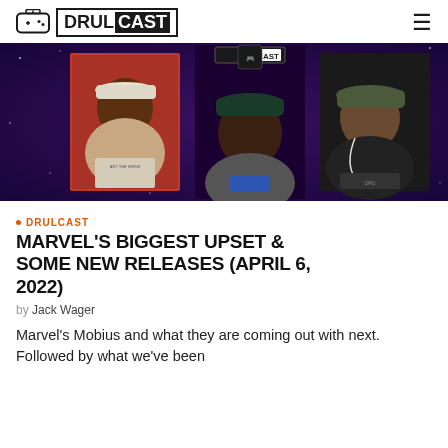DRULCAST (logo with gaming controller icon and hamburger menu)
[Figure (photo): Three people on a video call/podcast thumbnail with purple/space background and DRULCAST branding overlay. Left person in white cap laughing, center person in dark cap smiling, right person in olive cap with earbuds.]
DRULCAST
MARVEL'S BIGGEST UPSET & SOME NEW RELEASES (APRIL 6, 2022)
by Jack Wager
Marvel's Mobius and what they are coming out with next. Followed by what we've been